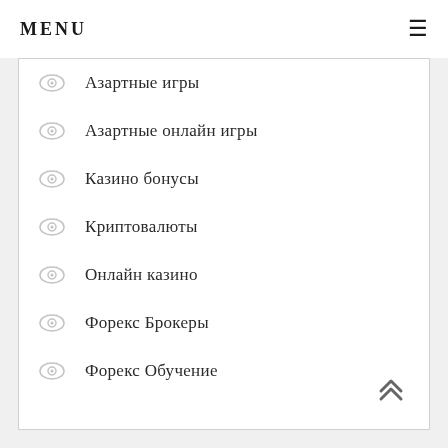MENU
Азартные игры
Азартные онлайн игры
Казино бонусы
Криптовалюты
Онлайн казино
Форекс Брокеры
Форекс Обучение